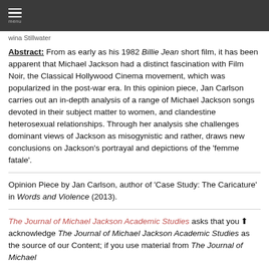Menu
wina Stillwater
Abstract: From as early as his 1982 Billie Jean short film, it has been apparent that Michael Jackson had a distinct fascination with Film Noir, the Classical Hollywood Cinema movement, which was popularized in the post-war era. In this opinion piece, Jan Carlson carries out an in-depth analysis of a range of Michael Jackson songs devoted in their subject matter to women, and clandestine heterosexual relationships. Through her analysis she challenges dominant views of Jackson as misogynistic and rather, draws new conclusions on Jackson's portrayal and depictions of the 'femme fatale'.
Opinion Piece by Jan Carlson, author of 'Case Study: The Caricature' in Words and Violence (2013).
The Journal of Michael Jackson Academic Studies asks that you acknowledge The Journal of Michael Jackson Academic Studies as the source of our Content; if you use material from The Journal of Michael